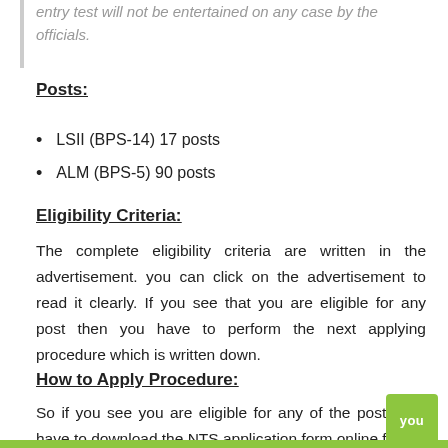entry test will not be entertained on any case by the officials.
Posts:
LSII (BPS-14) 17 posts
ALM (BPS-5) 90 posts
Eligibility Criteria:
The complete eligibility criteria are written in the advertisement. you can click on the advertisement to read it clearly. If you see that you are eligible for any post then you have to perform the next applying procedure which is written down.
How to Apply Procedure:
So if you see you are eligible for any of the post, you have to download the NTS application form online filling